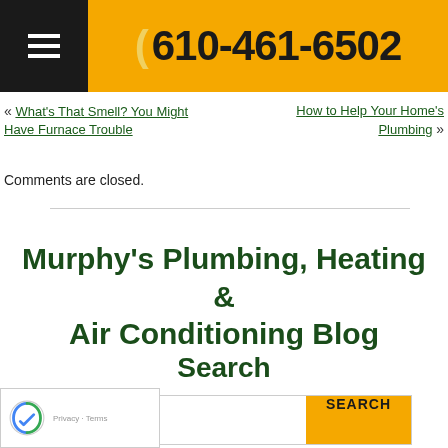610-461-6502
« What's That Smell? You Might Have Furnace Trouble   How to Help Your Home's Plumbing »
Comments are closed.
Murphy's Plumbing, Heating & Air Conditioning Blog
Search